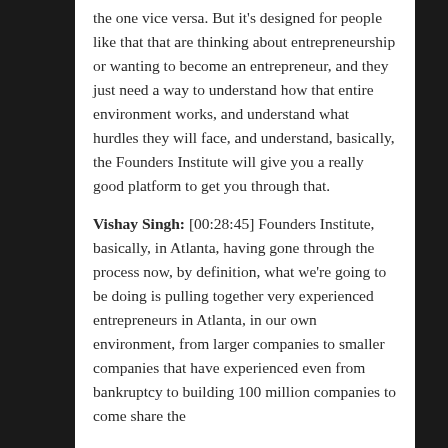the one vice versa. But it's designed for people like that that are thinking about entrepreneurship or wanting to become an entrepreneur, and they just need a way to understand how that entire environment works, and understand what hurdles they will face, and understand, basically, the Founders Institute will give you a really good platform to get you through that.
Vishay Singh: [00:28:45] Founders Institute, basically, in Atlanta, having gone through the process now, by definition, what we're going to be doing is pulling together very experienced entrepreneurs in Atlanta, in our own environment, from larger companies to smaller companies that have experienced even from bankruptcy to building 100 million companies to come share the